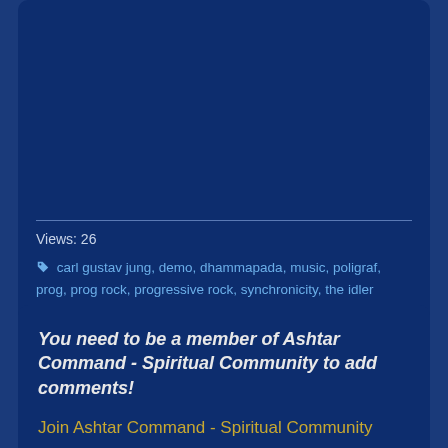Views: 26
carl gustav jung, demo, dhammapada, music, poligraf, prog, prog rock, progressive rock, synchronicity, the idler
E-mail me when people leave their comments – Follow
You need to be a member of Ashtar Command - Spiritual Community to add comments!
Join Ashtar Command - Spiritual Community